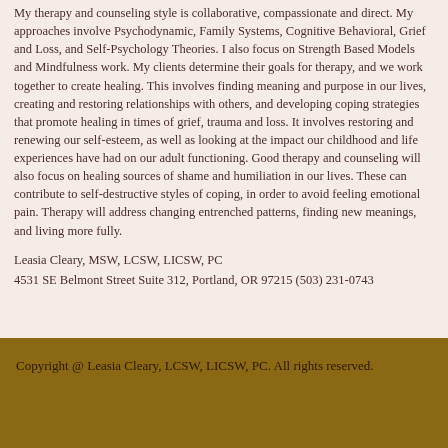My therapy and counseling style is collaborative, compassionate and direct. My approaches involve Psychodynamic, Family Systems, Cognitive Behavioral, Grief and Loss, and Self-Psychology Theories. I also focus on Strength Based Models and Mindfulness work. My clients determine their goals for therapy, and we work together to create healing. This involves finding meaning and purpose in our lives, creating and restoring relationships with others, and developing coping strategies that promote healing in times of grief, trauma and loss. It involves restoring and renewing our self-esteem, as well as looking at the impact our childhood and life experiences have had on our adult functioning. Good therapy and counseling will also focus on healing sources of shame and humiliation in our lives. These can contribute to self-destructive styles of coping, in order to avoid feeling emotional pain. Therapy will address changing entrenched patterns, finding new meanings, and living more fully.
Leasia Cleary, MSW, LCSW, LICSW, PC
4531 SE Belmont Street Suite 312, Portland, OR 97215 (503) 231-0743
Copyright @ Leasia Cleary, LCSW, LICSW, PC. All rights reserved.